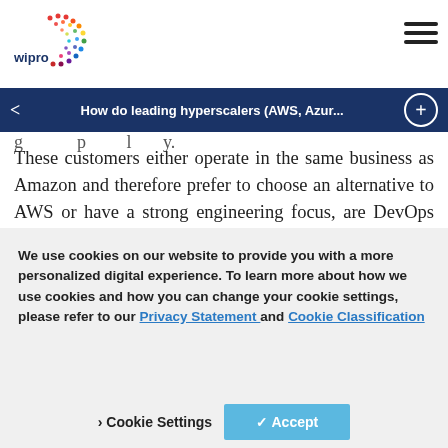[Figure (logo): Wipro logo with colorful dotted circular pattern and 'wipro' wordmark]
How do leading hyperscalers (AWS, Azur...
provider rather than their primary hyperscaler, due to its strength in offerings like big data, analytics and machine learning. However,
These customers either operate in the same business as Amazon and therefore prefer to choose an alternative to AWS or have a strong engineering focus, are DevOps centric or open-source centric and hence are less aligned to
We use cookies on our website to provide you with a more personalized digital experience. To learn more about how we use cookies and how you can change your cookie settings, please refer to our Privacy Statement and Cookie Classification